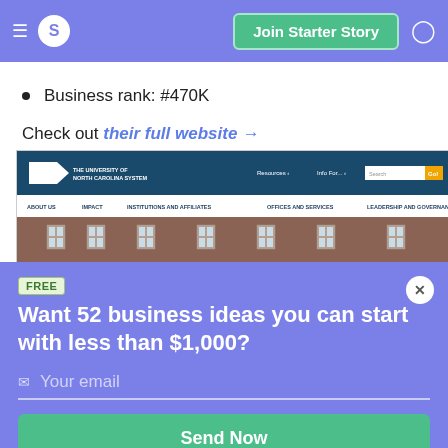S  Join Starter Story
Business rank: #470K
Check out their full website →
[Figure (screenshot): Screenshot of The University of North Carolina System website showing the navigation bar with logo, Resources, Info For menus, a search box, and a secondary menu bar with About Us, Impact, Institutions and Affiliates, Offices and Services, Leadership and Governance. Below is a partial view of a brick building.]
FREE
Want 52 business ideas you can start with less than $1,000?
Your email
Send Now